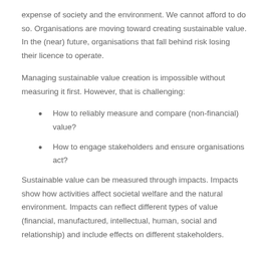expense of society and the environment. We cannot afford to do so. Organisations are moving toward creating sustainable value. In the (near) future, organisations that fall behind risk losing their licence to operate.
Managing sustainable value creation is impossible without measuring it first. However, that is challenging:
How to reliably measure and compare (non-financial) value?
How to engage stakeholders and ensure organisations act?
Sustainable value can be measured through impacts. Impacts show how activities affect societal welfare and the natural environment. Impacts can reflect different types of value (financial, manufactured, intellectual, human, social and relationship) and include effects on different stakeholders.